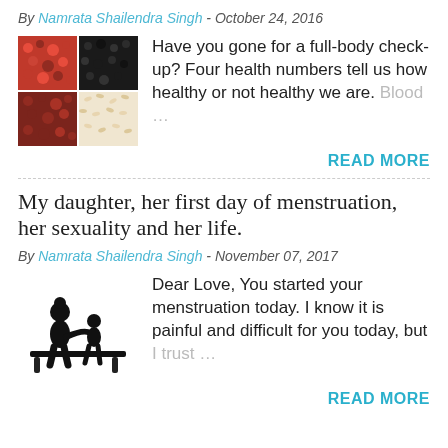By Namrata Shailendra Singh - October 24, 2016
[Figure (photo): Grid of four food groups: red seeds (top-left), black seeds (top-right), dark red seeds (bottom-left), white/beige rice/grains (bottom-right)]
Have you gone for a full-body check-up? Four health numbers tell us how healthy or not healthy we are. Blood …
READ MORE
My daughter, her first day of menstruation, her sexuality and her life.
By Namrata Shailendra Singh - November 07, 2017
[Figure (illustration): Black silhouette of an adult and a child sitting together on a bench, the adult's arm around the child]
Dear Love, You started your menstruation today. I know it is painful and difficult for you today, but I trust …
READ MORE